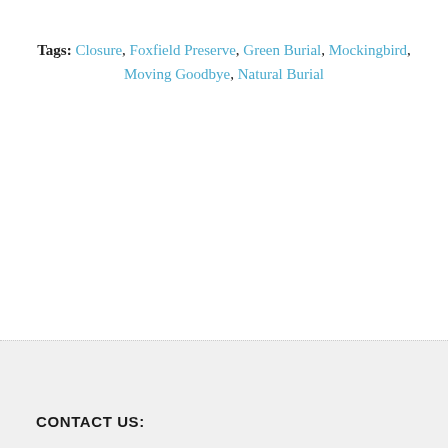Tags: Closure, Foxfield Preserve, Green Burial, Mockingbird, Moving Goodbye, Natural Burial
CONTACT US: